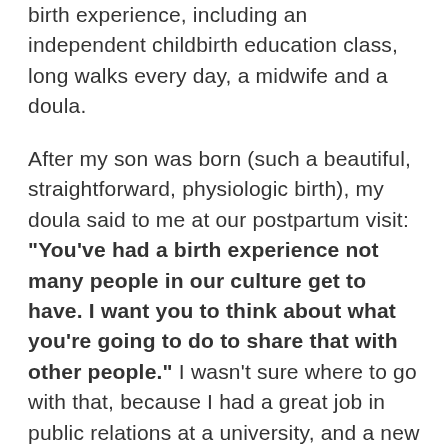birth experience, including an independent childbirth education class, long walks every day, a midwife and a doula.
After my son was born (such a beautiful, straightforward, physiologic birth), my doula said to me at our postpartum visit: “You’ve had a birth experience not many people in our culture get to have. I want you to think about what you’re going to do to share that with other people.” I wasn’t sure where to go with that, because I had a great job in public relations at a university, and a new baby that I had no idea how to take care of. But her challenge stuck with me, especially as I